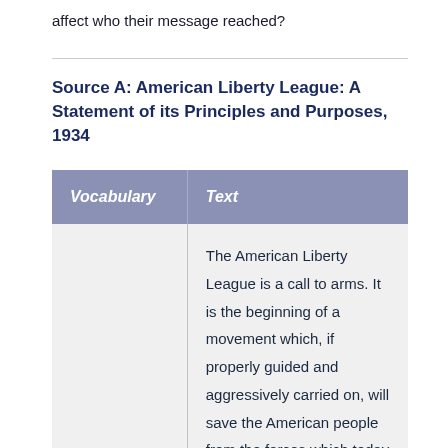affect who their message reached?
Source A: American Liberty League: A Statement of its Principles and Purposes, 1934
| Vocabulary | Text |
| --- | --- |
|  | The American Liberty League is a call to arms. It is the beginning of a movement which, if properly guided and aggressively carried on, will save the American people from the forces which today are threatening to |